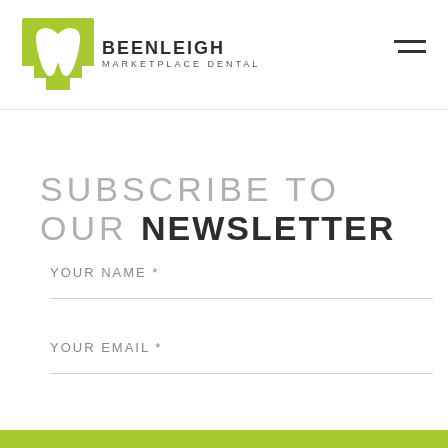[Figure (logo): Beenleigh Marketplace Dental logo with green tooth/bracket icon and text]
SUBSCRIBE TO OUR NEWSLETTER
YOUR NAME *
YOUR EMAIL *
SUBSCRIBE